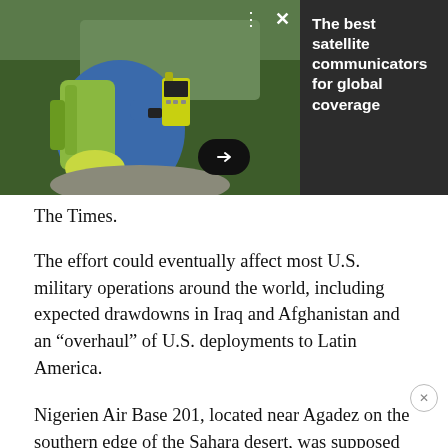[Figure (photo): Advertisement banner: person with green backpack holding a yellow satellite communicator device outdoors on rocky terrain with forest background. Dark panel on right reads 'The best satellite communicators for global coverage'. Controls show three-dot menu and X close button. Arrow button at bottom center.]
The Times.
The effort could eventually affect most U.S. military operations around the world, including expected drawdowns in Iraq and Afghanistan and an “overhaul” of U.S. deployments to Latin America.
Nigerien Air Base 201, located near Agadez on the southern edge of the Sahara desert, was supposed to open in 2018, but bad weather and harsh conditions pushed that to November.